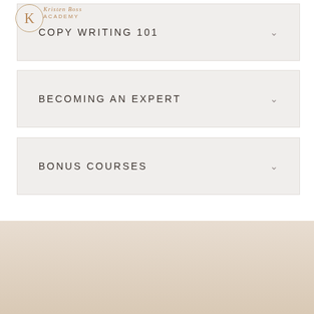[Figure (logo): Kristen Boss logo circle with K and brand name]
COPY WRITING 101
BECOMING AN EXPERT
BONUS COURSES